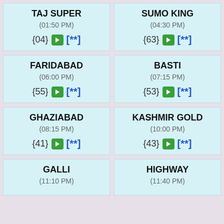TAJ SUPER (01:50 PM) {04} → [**]
SUMO KING (04:30 PM) {63} → [**]
FARIDABAD (06:00 PM) {55} → [**]
BASTI (07:15 PM) {53} → [**]
GHAZIABAD (08:15 PM) {41} → [**]
KASHMIR GOLD (10:00 PM) {43} → [**]
GALLI (11:10 PM)
HIGHWAY (11:40 PM)